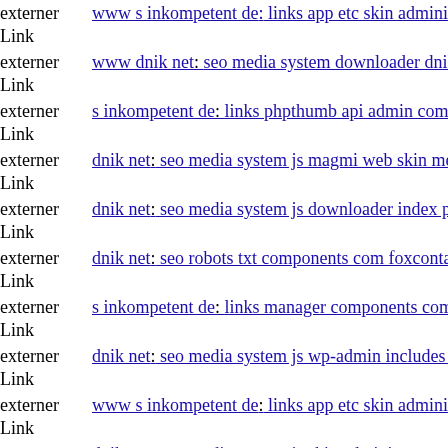externer Link www s inkompetent de: links app etc skin administrator mo
externer Link www dnik net: seo media system downloader dnik net
externer Link s inkompetent de: links phpthumb api admin components co
externer Link dnik net: seo media system js magmi web skin media comp
externer Link dnik net: seo media system js downloader index php
externer Link dnik net: seo robots txt components com foxcontact git head
externer Link s inkompetent de: links manager components com foxconta
externer Link dnik net: seo media system js wp-admin includes plugins co
externer Link www s inkompetent de: links app etc skin administrator wp
externer Link dnik net: seo media system js skin administrator wp-conten
externer Link s inkompetent de: links phpthumb api admin administrator